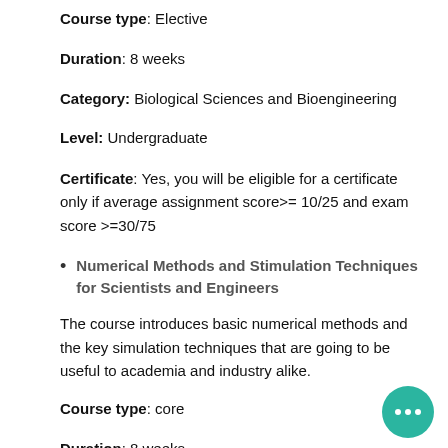Course type: Elective
Duration: 8 weeks
Category: Biological Sciences and Bioengineering
Level: Undergraduate
Certificate: Yes, you will be eligible for a certificate only if average assignment score>= 10/25 and exam score >=30/75
Numerical Methods and Stimulation Techniques for Scientists and Engineers
The course introduces basic numerical methods and the key simulation techniques that are going to be useful to academia and industry alike.
Course type: core
Duration: 8 weeks